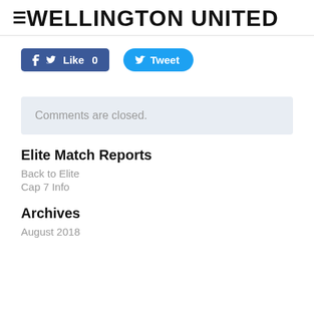≡ WELLINGTON UNITED
[Figure (screenshot): Facebook Like button with count 0 and Twitter Tweet button]
Comments are closed.
Elite Match Reports
Back to Elite
Cap 7 Info
Archives
August 2018